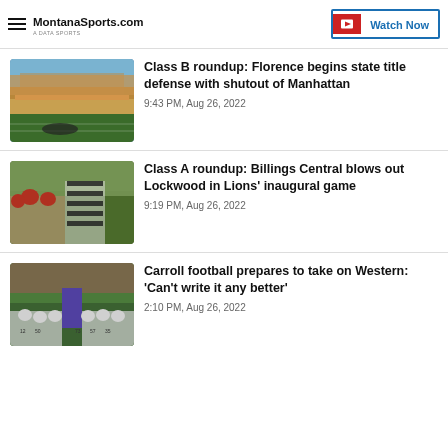MontanaSports.com | Watch Now
[Figure (photo): Football players on a field with stadium bleachers in the background, blue sky]
Class B roundup: Florence begins state title defense with shutout of Manhattan
9:43 PM, Aug 26, 2022
[Figure (photo): Football players in white uniforms with a referee in black and white stripes]
Class A roundup: Billings Central blows out Lockwood in Lions' inaugural game
9:19 PM, Aug 26, 2022
[Figure (photo): Football players huddled around a coach in purple, kneeling on a green field]
Carroll football prepares to take on Western: 'Can't write it any better'
2:10 PM, Aug 26, 2022